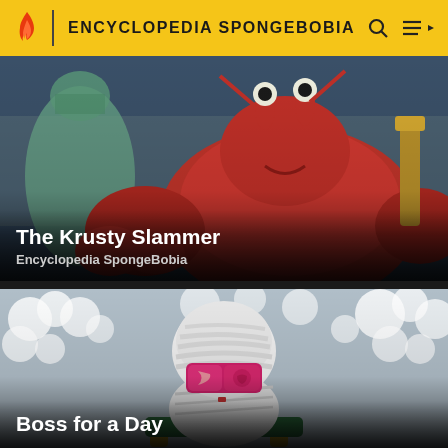ENCYCLOPEDIA SPONGEBOBIA
[Figure (screenshot): Animated scene from SpongeBob SquarePants showing Mr. Krabs (a large red crab) sitting against a blue background with teals and greens]
The Krusty Slammer
Encyclopedia SpongeBobia
[Figure (screenshot): Animated character wrapped in white bandages sitting in a chair with pink/magenta eyes visible, surrounded by white cloud-like shapes on a grey-blue background]
Boss for a Day